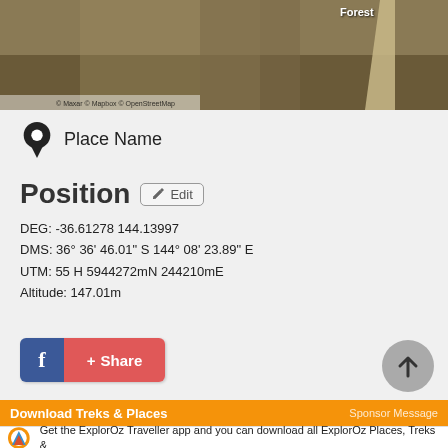[Figure (map): Satellite map view showing terrain with a road and label 'Forest'. Copyright: © Maxar © Mapbox © OpenStreetMap]
Place Name
Position Edit
DEG: -36.61278 144.13997
DMS: 36° 36' 46.01" S 144° 08' 23.89" E
UTM: 55 H 5944272mN 244210mE
Altitude: 147.01m
[Figure (screenshot): Facebook Share button]
Download Treks & Places
Sponsor Message
Get the ExplorOz Traveller app and you can download all ExplorOz Places, Treks &